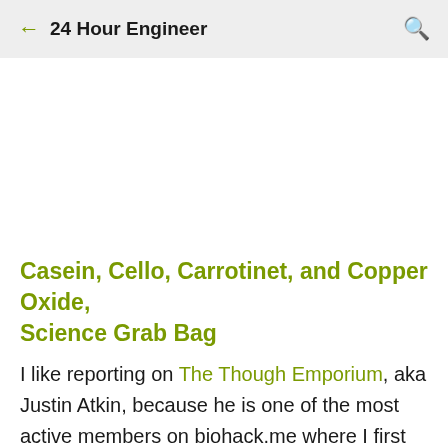24 Hour Engineer
Casein, Cello, Carrotinet, and Copper Oxide, Science Grab Bag
I like reporting on The Though Emporium, aka Justin Atkin, because he is one of the most active members on biohack.me where I first talked with him. In addition to grinding, he delves into a lot